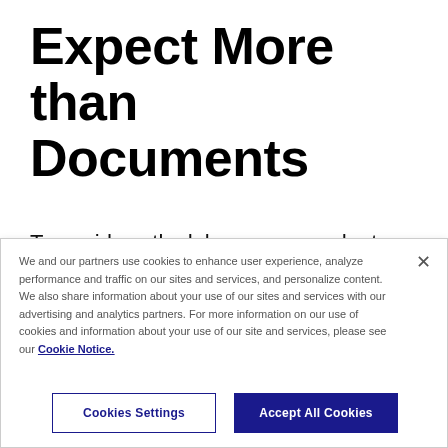Expect More than Documents
To avoid costly delays, you need a team that does more than take your order. That’s why
We and our partners use cookies to enhance user experience, analyze performance and traffic on our sites and services, and personalize content. We also share information about your use of our sites and services with our advertising and analytics partners. For more information on our use of cookies and information about your use of our site and services, please see our Cookie Notice.